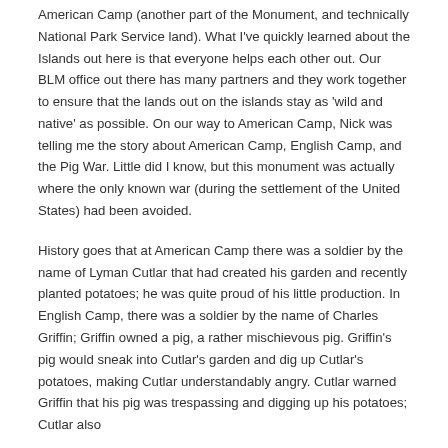American Camp (another part of the Monument, and technically National Park Service land). What I've quickly learned about the Islands out here is that everyone helps each other out. Our BLM office out there has many partners and they work together to ensure that the lands out on the islands stay as 'wild and native' as possible. On our way to American Camp, Nick was telling me the story about American Camp, English Camp, and the Pig War. Little did I know, but this monument was actually where the only known war (during the settlement of the United States) had been avoided.
History goes that at American Camp there was a soldier by the name of Lyman Cutlar that had created his garden and recently planted potatoes; he was quite proud of his little production. In English Camp, there was a soldier by the name of Charles Griffin; Griffin owned a pig, a rather mischievous pig. Griffin's pig would sneak into Cutlar's garden and dig up Cutlar's potatoes, making Cutlar understandably angry. Cutlar warned Griffin that his pig was trespassing and digging up his potatoes; Cutlar also